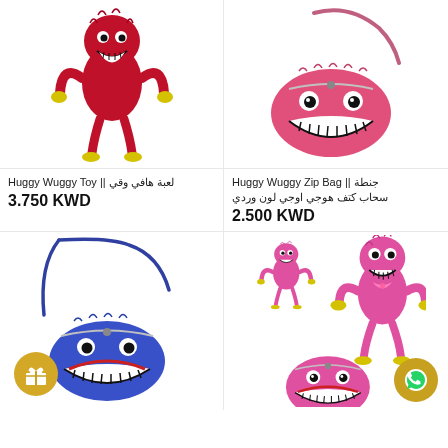[Figure (photo): Red Huggy Wuggy plush toy standing upright with yellow hands and feet]
[Figure (photo): Pink Huggy Wuggy zip bag / crossbody bag with monster face, pink strap]
Huggy Wuggy Toy || لعبة هافي وقي
3.750 KWD
Huggy Wuggy Zip Bag || جنطة سحاب كتف هوجي اوجي لون وردي
2.500 KWD
[Figure (photo): Blue Huggy Wuggy crossbody zip bag with monster face and blue strap, with golden gift badge icon]
[Figure (photo): Set of pink Huggy Wuggy plush toys in various sizes, with WhatsApp badge icon]